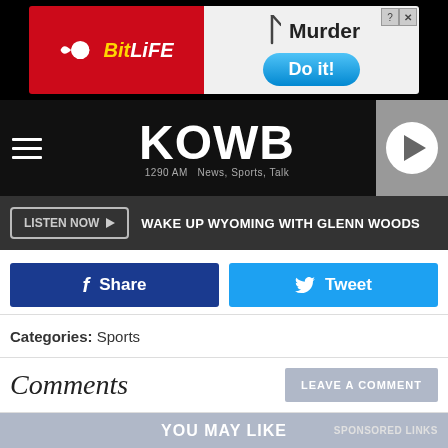[Figure (screenshot): BitLife and Murder ad banner at top of webpage]
[Figure (logo): KOWB 1290 AM News, Sports, Talk radio station logo with hamburger menu and play button]
LISTEN NOW  WAKE UP WYOMING WITH GLENN WOODS
Share  Tweet
Categories: Sports
Comments
LEAVE A COMMENT
YOU MAY LIKE   SPONSORED LINKS
[Figure (photo): Dark preview image strip for sponsored content]
[Figure (screenshot): U.S. Department of State ad - Renew your Passport Now with Learn more button]